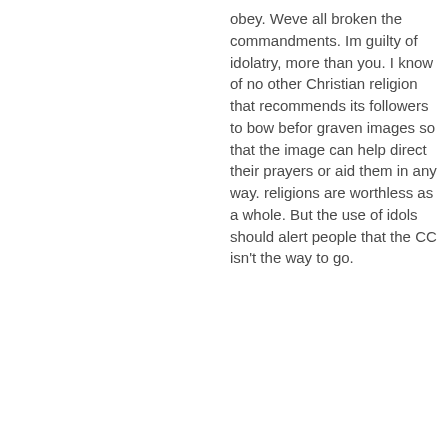obey. Weve all broken the commandments. Im guilty of idolatry, more than you. I know of no other Christian religion that recommends its followers to bow befor graven images so that the image can help direct their prayers or aid them in any way. religions are worthless as a whole. But the use of idols should alert people that the CC isn't the way to go.